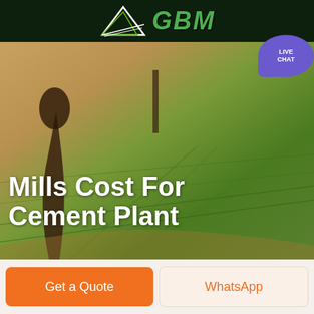GBM
[Figure (screenshot): GBM company website header showing dark green navigation bar with GBM logo, green nav bar with hamburger menu and live chat bubble, aerial photo of agricultural fields with tree silhouettes, and the title 'Mills Cost For Cement Plant' overlaid in white bold text]
Mills Cost For Cement Plant
Get a Quote
WhatsApp